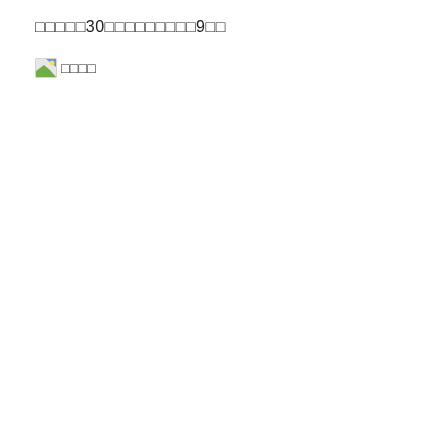□□□□□30□□□□□□□□□9□□
[Figure (other): Broken image placeholder icon with label text □□□□]